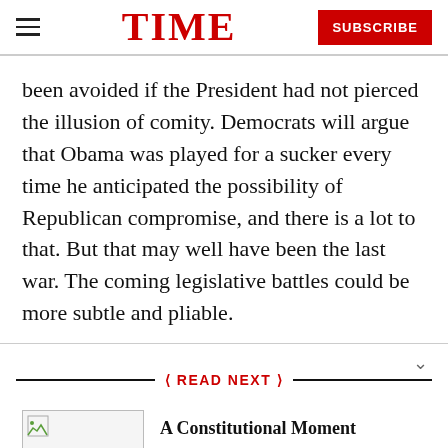TIME
been avoided if the President had not pierced the illusion of comity. Democrats will argue that Obama was played for a sucker every time he anticipated the possibility of Republican compromise, and there is a lot to that. But that may well have been the last war. The coming legislative battles could be more subtle and pliable.
READ NEXT
A Constitutional Moment